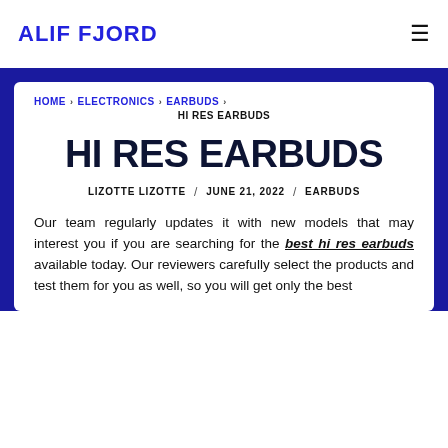ALIF FJORD
HOME › ELECTRONICS › EARBUDS › HI RES EARBUDS
HI RES EARBUDS
LIZOTTE LIZOTTE / JUNE 21, 2022 / EARBUDS
Our team regularly updates it with new models that may interest you if you are searching for the best hi res earbuds available today. Our reviewers carefully select the products and test them for you as well, so you will get only the best